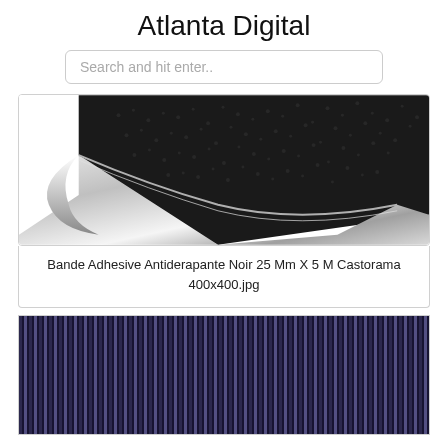Atlanta Digital
Search and hit enter..
[Figure (photo): Anti-slip adhesive strip product photo showing a corner of black textured grip tape peeling back to reveal a metallic silver backing, photographed from an angle against a white background.]
Bande Adhesive Antiderapante Noir 25 Mm X 5 M Castorama
400x400.jpg
[Figure (photo): Close-up texture image of dark blue/navy corrugated or ribbed material with vertical parallel ridges, showing subtle light reflections in alternating stripes.]